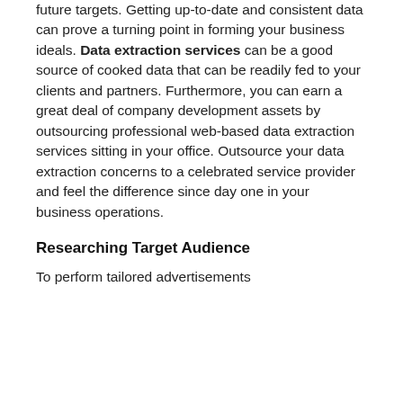future targets. Getting up-to-date and consistent data can prove a turning point in forming your business ideals. Data extraction services can be a good source of cooked data that can be readily fed to your clients and partners. Furthermore, you can earn a great deal of company development assets by outsourcing professional web-based data extraction services sitting in your office. Outsource your data extraction concerns to a celebrated service provider and feel the difference since day one in your business operations.
Researching Target Audience
To perform tailored advertisements